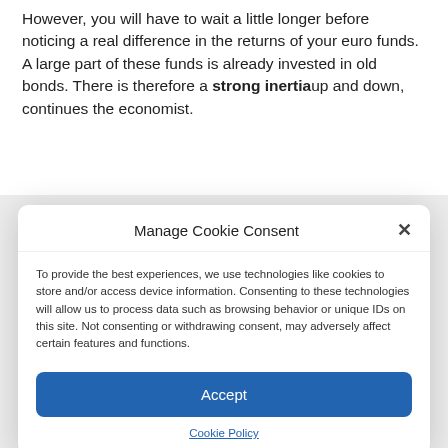However, you will have to wait a little longer before noticing a real difference in the returns of your euro funds. A large part of these funds is already invested in old bonds. There is therefore a strong inertia up and down, continues the economist.
Manage Cookie Consent
To provide the best experiences, we use technologies like cookies to store and/or access device information. Consenting to these technologies will allow us to process data such as browsing behavior or unique IDs on this site. Not consenting or withdrawing consent, may adversely affect certain features and functions.
Accept
Cookie Policy